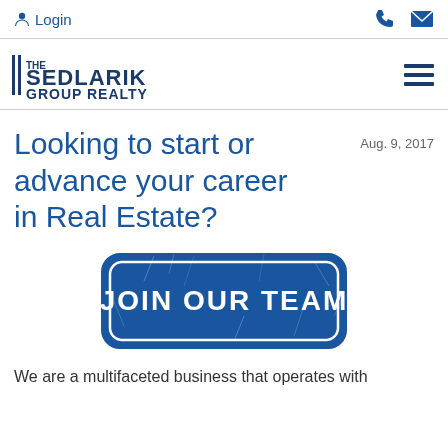Login
[Figure (logo): The Sedlarik Group Realty logo in dark navy/blue bold text with horizontal lines on the left side]
Looking to start or advance your career in Real Estate?
Aug. 9, 2017
[Figure (illustration): Blue rubber stamp style badge with cracked texture reading JOIN OUR TEAM in white bold text, rounded rectangle shape]
We are a multifaceted business that operates with